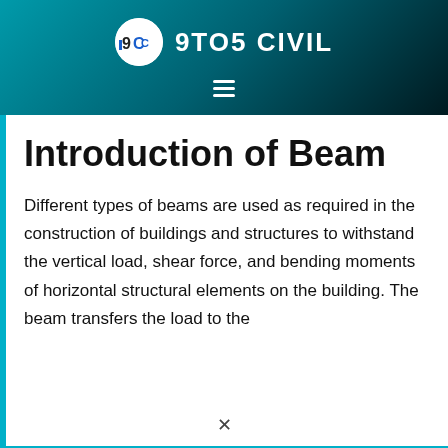[Figure (logo): 9TO5 CIVIL website header with logo circle containing '9C' initials and text '9TO5 CIVIL' in white bold font on teal-to-dark gradient background, with hamburger menu icon below]
Introduction of Beam
Different types of beams are used as required in the construction of buildings and structures to withstand the vertical load, shear force, and bending moments of horizontal structural elements on the building. The beam transfers the load to the